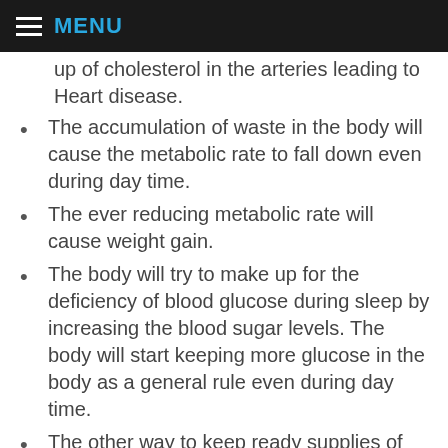MENU
up of cholesterol in the arteries leading to Heart disease.
The accumulation of waste in the body will cause the metabolic rate to fall down even during day time.
The ever reducing metabolic rate will cause weight gain.
The body will try to make up for the deficiency of blood glucose during sleep by increasing the blood sugar levels. The body will start keeping more glucose in the body as a general rule even during day time.
The other way to keep ready supplies of glucose during night is to thicken the arteries so that increased amounts of